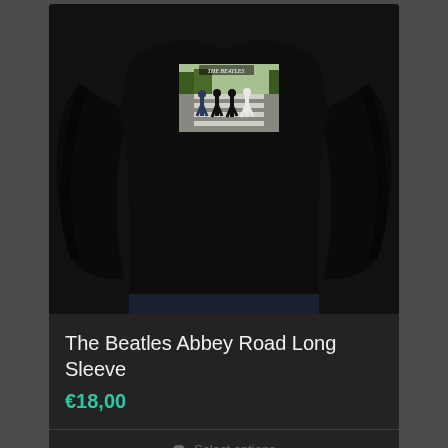[Figure (photo): Product photo of a black long-sleeve shirt worn by a model, featuring The Beatles Abbey Road album cover graphic printed on the chest.]
The Beatles Abbey Road Long Sleeve
€18,00
Select options